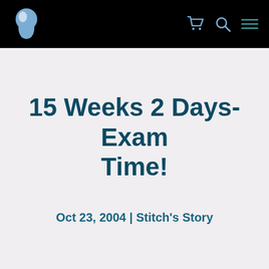Navigation bar with logo and icons
15 Weeks 2 Days- Exam Time!
Oct 23, 2004 | Stitch's Story